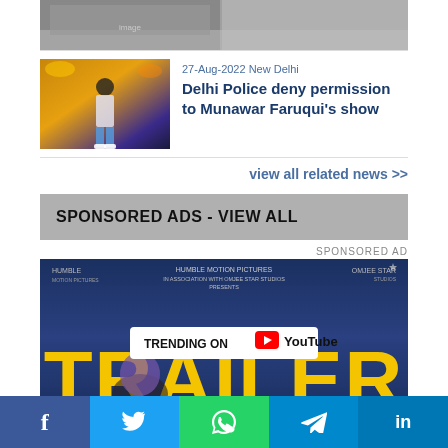[Figure (photo): Partial top image of a news article thumbnail (grey/snowy scene)]
[Figure (photo): Photo of a person standing on a stage with colorful lights, wearing white shirt and jeans]
27-Aug-2022 New Delhi
Delhi Police deny permission to Munawar Faruqui's show
view all related news >>
SPONSORED ADS - VIEW ALL
SPONSORED AD
[Figure (photo): Sponsored ad banner for a movie trailer - shows 'TRAILER' in large yellow letters with 'TRENDING ON YouTube' badge, person in turban, Humble Motion Pictures and Omjee Star Studios branding]